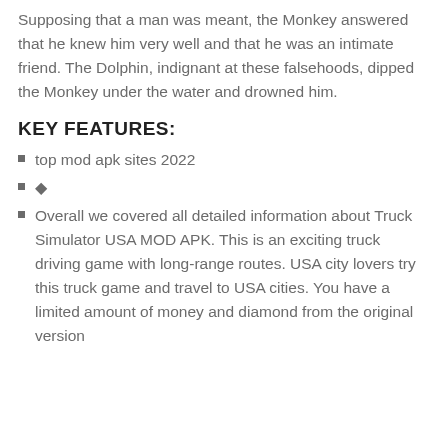Supposing that a man was meant, the Monkey answered that he knew him very well and that he was an intimate friend. The Dolphin, indignant at these falsehoods, dipped the Monkey under the water and drowned him.
KEY FEATURES:
top mod apk sites 2022
◆
Overall we covered all detailed information about Truck Simulator USA MOD APK. This is an exciting truck driving game with long-range routes. USA city lovers try this truck game and travel to USA cities. You have a limited amount of money and diamond from the original version